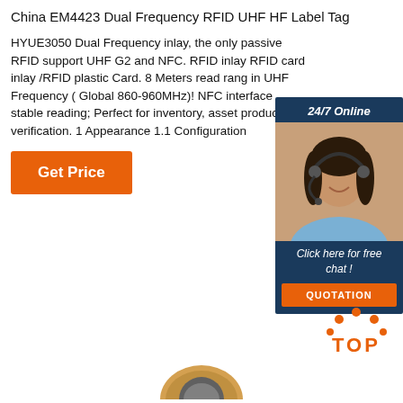China EM4423 Dual Frequency RFID UHF HF Label Tag
HYUE3050 Dual Frequency inlay, the only passive RFID support UHF G2 and NFC. RFID inlay RFID card inlay /RFID plastic Card. 8 Meters read rang in UHF Frequency ( Global 860-960MHz)! NFC interface stable reading; Perfect for inventory, asset product verification. 1 Appearance 1.1 Configuration
[Figure (other): Orange 'Get Price' button]
[Figure (other): 24/7 Online chat widget with woman in headset, 'Click here for free chat!' text and orange QUOTATION button]
[Figure (other): Orange TOP badge with dots above]
[Figure (other): Partial image of a coin/RFID tag at bottom center]